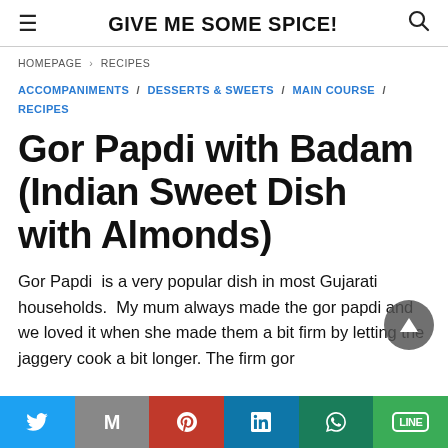GIVE ME SOME SPICE!
HOMEPAGE > RECIPES
ACCOMPANIMENTS / DESSERTS & SWEETS / MAIN COURSE / RECIPES
Gor Papdi with Badam (Indian Sweet Dish with Almonds)
Gor Papdi  is a very popular dish in most Gujarati households.  My mum always made the gor papdi and we loved it when she made them a bit firm by letting the jaggery cook a bit longer. The firm gor
Twitter | Gmail | Pinterest | LinkedIn | WhatsApp | Line